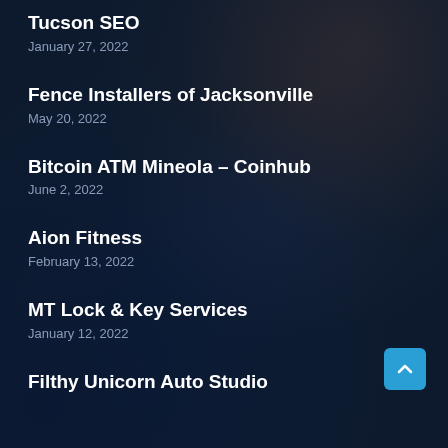Tucson SEO
January 27, 2022
Fence Installers of Jacksonville
May 20, 2022
Bitcoin ATM Mineola – Coinhub
June 2, 2022
Aion Fitness
February 13, 2022
MT Lock & Key Services
January 12, 2022
Filthy Unicorn Auto Studio